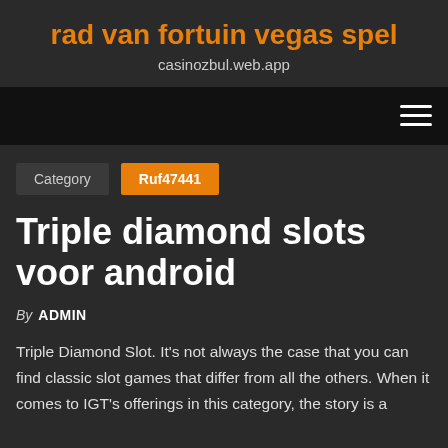rad van fortuin vegas spel
casinozbul.web.app
[Figure (other): Navigation bar with hamburger menu icon (three horizontal lines) on dark/black background]
Category  Ruf47441
Triple diamond slots voor android
By ADMIN
Triple Diamond Slot. It's not always the case that you can find classic slot games that differ from all the others. When it comes to IGT's offerings in this category, the story is a